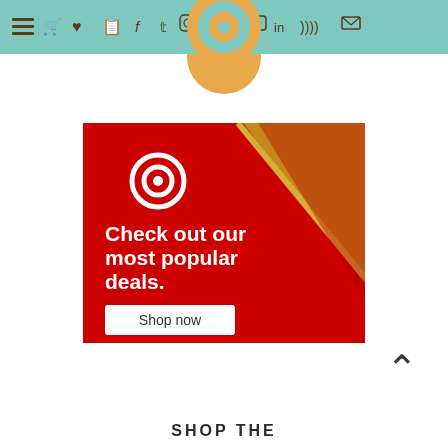Navigation bar with hamburger menu and social/nav icons
[Figure (illustration): Target advertisement banner: red background with diagonal gold stripe in upper right, Target bullseye logo in white, bold white text 'Check out our most popular deals.', white 'Shop now' button]
[Figure (illustration): Upward chevron back-to-top button]
SHOP THE